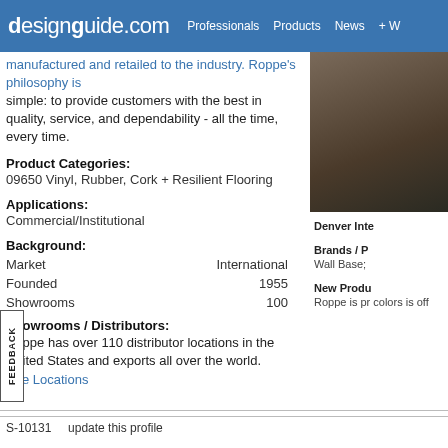designguide.com  Professionals  Products  News  + W
rubber and vinyl flooring products and accessories, producing a full line of products. From its humble beginnings, Roppe has manufactured and retailed to the industry. Roppe's philosophy is simple: to provide customers with the best in quality, service, and dependability - all the time, every time.
Product Categories:
09650 Vinyl, Rubber, Cork + Resilient Flooring
Applications:
Commercial/Institutional
Background:
|  |  |
| --- | --- |
| Market | International |
| Founded | 1955 |
| Showrooms | 100 |
Showrooms / Distributors:
Roppe has over 110 distributor locations in the United States and exports all over the world.
See Locations
Denver Inte
Brands / P
Wall Base;
New Produ
Roppe is pr colors is off
S-10131    update this profile